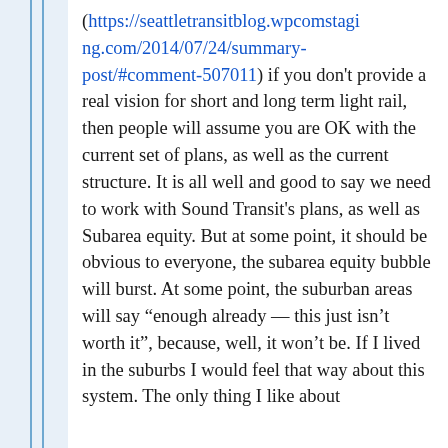(https://seattletransitblog.wpcomstaging.com/2014/07/24/summary-post/#comment-507011) if you don't provide a real vision for short and long term light rail, then people will assume you are OK with the current set of plans, as well as the current structure. It is all well and good to say we need to work with Sound Transit's plans, as well as Subarea equity. But at some point, it should be obvious to everyone, the subarea equity bubble will burst. At some point, the suburban areas will say "enough already — this just isn't worth it", because, well, it won't be. If I lived in the suburbs I would feel that way about this system. The only thing I like about